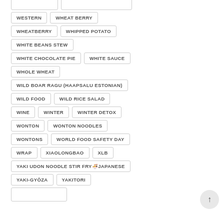WESTERN
WHEAT BERRY
WHEATBERRY
WHIPPED POTATO
WHITE BEANS STEW
WHITE CHOCOLATE PIE
WHITE SAUCE
WHOLE WHEAT
WILD BOAR RAGU (HAAPSALU ESTONIAN)
WILD FOOD
WILD RICE SALAD
WINE
WINTER
WINTER DETOX
WONTON
WONTON NOODLES
WONTONS
WORLD FOOD SAFETY DAY
WRAP
XIAOLONGBAO
XLB
YAKI UDON NOODLE STIR FRY🍜JAPANESE
YAKI-GYŌZA
YAKITORI